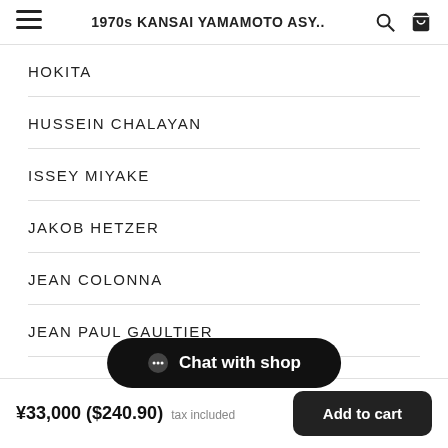1970s KANSAI YAMAMOTO ASY..
HOKITA
HUSSEIN CHALAYAN
ISSEY MIYAKE
JAKOB HETZER
JEAN COLONNA
JEAN PAUL GAULTIER
JEREMY SC
[Figure (other): Chat with shop overlay button]
¥33,000 ($240.90) tax included | Add to cart